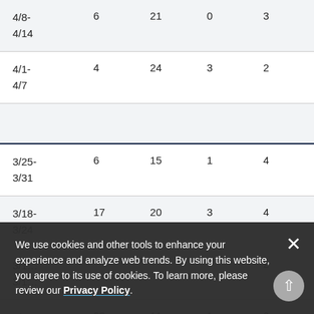| Date | Col1 | Col2 | Col3 | Col4 |
| --- | --- | --- | --- | --- |
| 4/8-
4/14 | 6 | 21 | 0 | 3 |
| 4/1-
4/7 | 4 | 24 | 3 | 2 |
| (blank) |  |  |  |  |
| 3/25-
3/31 | 6 | 15 | 1 | 4 |
| 3/18-
3/24 | 17 | 20 | 3 | 4 |
| 3/11-
3/17 |  |  |  | 2 |
| 3/4- | 23 | 11 | 1 | 0 |
We use cookies and other tools to enhance your experience and analyze web trends. By using this website, you agree to its use of cookies. To learn more, please review our Privacy Policy.